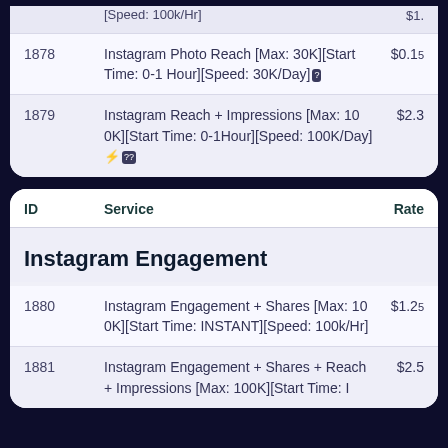| ID | Service | Rate |
| --- | --- | --- |
| 1878 | Instagram Photo Reach [Max: 30K][Start Time: 0-1 Hour][Speed: 30K/Day] | $0.15 |
| 1879 | Instagram Reach + Impressions [Max: 10 0K][Start Time: 0-1Hour][Speed: 100K/Day] | $2.3 |
| ID | Service | Rate |
| --- | --- | --- |
|  | Instagram Engagement |  |
| 1880 | Instagram Engagement + Shares [Max: 10 0K][Start Time: INSTANT][Speed: 100k/Hr] | $1.25 |
| 1881 | Instagram Engagement + Shares + Reach + Impressions [Max: 100K][Start Time: I | $2.5 |